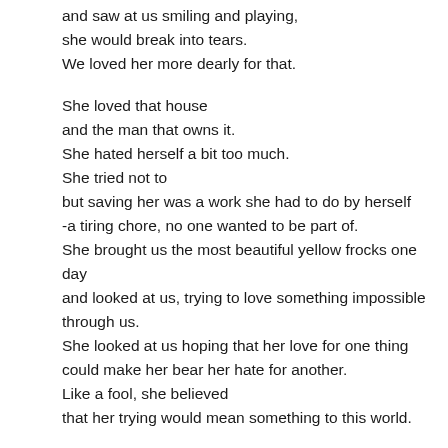and saw at us smiling and playing,
she would break into tears.
We loved her more dearly for that.

She loved that house
and the man that owns it.
She hated herself a bit too much.
She tried not to
but saving her was a work she had to do by herself
-a tiring chore, no one wanted to be part of.
She brought us the most beautiful yellow frocks one day
and looked at us, trying to love something impossible
through us.
She looked at us hoping that her love for one thing
could make her bear her hate for another.
Like a fool, she believed
that her trying would mean something to this world.